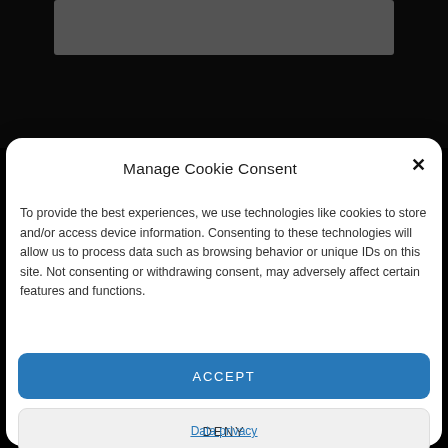[Figure (photo): Dark background with a partial grayscale photo visible at the top, showing a person in dark clothing]
Manage Cookie Consent
To provide the best experiences, we use technologies like cookies to store and/or access device information. Consenting to these technologies will allow us to process data such as browsing behavior or unique IDs on this site. Not consenting or withdrawing consent, may adversely affect certain features and functions.
ACCEPT
DENY
VIEW PREFERENCES
Data privacy